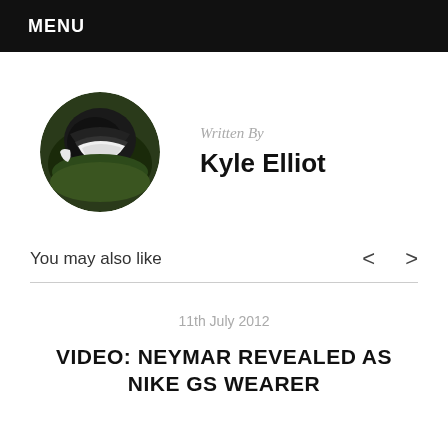MENU
[Figure (photo): Circular avatar photo showing a close-up of a football/soccer ball on grass]
Written By
Kyle Elliot
You may also like
11th July 2012
VIDEO: NEYMAR REVEALED AS NIKE GS WEARER